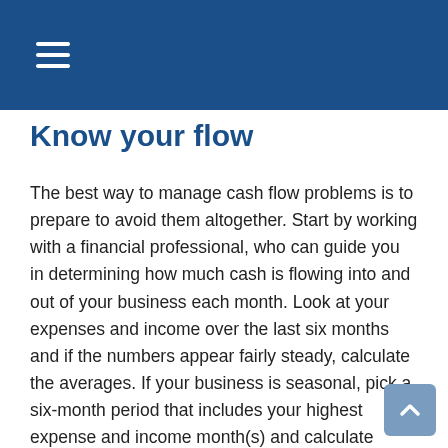Know your flow
The best way to manage cash flow problems is to prepare to avoid them altogether. Start by working with a financial professional, who can guide you in determining how much cash is flowing into and out of your business each month. Look at your expenses and income over the last six months and if the numbers appear fairly steady, calculate the averages. If your business is seasonal, pick a six-month period that includes your highest expense and income month(s) and calculate accordingly. Armed with this information, you can create a budget that helps keep your business in the black.